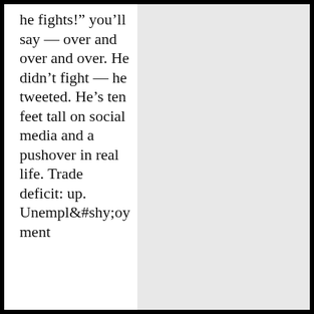he fights!" you’ll say — over and over and over. He didn’t fight — he tweeted. He’s ten feet tall on social media and a pushover in real life. Trade deficit: up. Unemployment